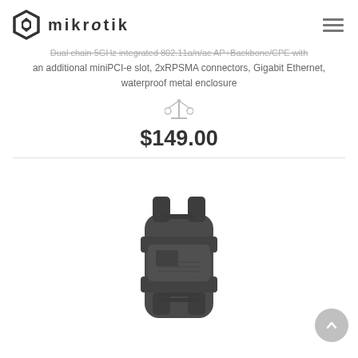mikrotik
Dual chain 5GHz integrated 802.11a/n/ac AP+Backbone/CPE with an additional miniPCI-e slot, 2xRPSMA connectors, Gigabit Ethernet, waterproof metal enclosure
$149.00
[Figure (photo): MikroTik outdoor waterproof wireless device in dark grey metal enclosure, front view]